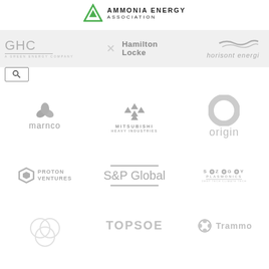[Figure (logo): Ammonia Energy Association logo with green triangle and text AMMONIA ENERGY ASSOCIATION]
[Figure (screenshot): Navigation bar with GHC (A Green Energy Company) logo, hamburger menu, Hamilton Locke logo, Horisont energi logo, and a search box]
[Figure (logo): marnco logo with green leaf icon]
[Figure (logo): Mitsubishi Heavy Industries logo with diamond/star icon]
[Figure (logo): origin logo with circular O shape]
[Figure (logo): Proton Ventures logo with hexagonal icon]
[Figure (logo): S&P Global logo with horizontal lines above and below text]
[Figure (logo): SYZYGY PLASMONICS logo with circular icons in letters]
[Figure (logo): Thyssenkrupp Uhde Ammonia (partially visible) logo with three interlocked circles]
[Figure (logo): TOPSOE logo in large bold letters]
[Figure (logo): Trammo logo with flower-like icon]